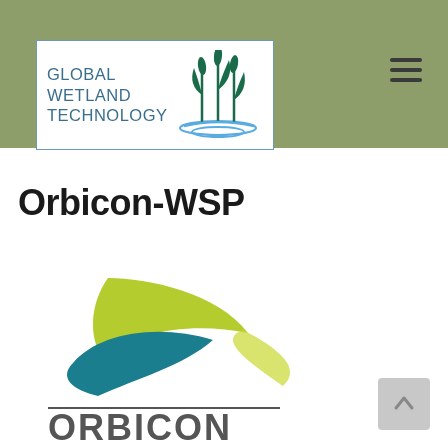[Figure (logo): Global Wetland Technology logo — white box with teal text reading GLOBAL WETLAND TECHNOLOGY and a green/teal wetland plant illustration with water ripples]
Orbicon-WSP
[Figure (logo): Orbicon-WSP logo — two curved swoosh shapes (lime green top, teal blue bottom) above a horizontal line and the word ORBICON in dark grey bold caps]